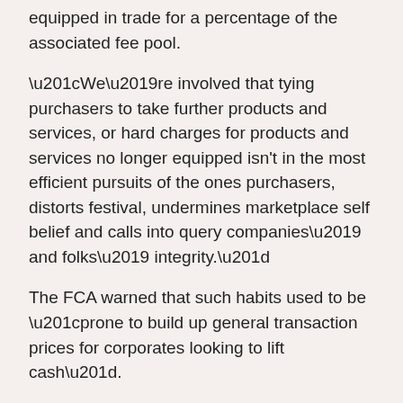equipped in trade for a percentage of the associated fee pool.
“We’re involved that tying purchasers to take further products and services, or hard charges for products and services no longer equipped isn't in the most efficient pursuits of the ones purchasers, distorts festival, undermines marketplace self belief and calls into query companies’ and folks’ integrity.”
The FCA warned that such habits used to be “prone to build up general transaction prices for corporates looking to lift cash”.
Sky Information published on the time that Numis, the unbiased dealer, were amongst the ones which had alerted the FCA to ideas of malpractice.
A few of the funding banks which gave the impression on a variety of equity-raising offers the place board administrators and rival bankers expressed incredulity had been Barclays, BNP Paribas and Santander.